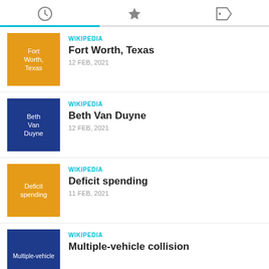[Figure (screenshot): Tab bar with three icons: clock (history), star (favorites), tag (labeled). A teal progress bar below spans about 37% of the width.]
WIKIPEDIA | Fort Worth, Texas | 12 FEB, 2021
WIKIPEDIA | Beth Van Duyne | 12 FEB, 2021
WIKIPEDIA | Deficit spending | 11 FEB, 2021
WIKIPEDIA | Multiple-vehicle collision